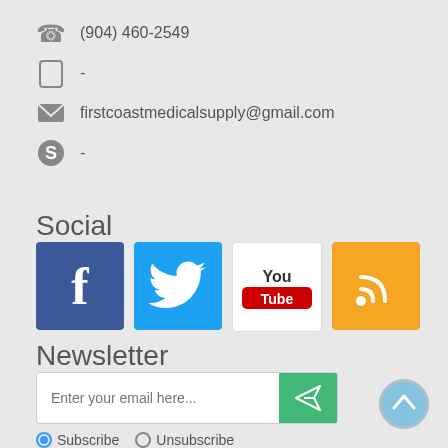(904) 460-2549
-
firstcoastmedicalsupply@gmail.com
-
Social
[Figure (infographic): Social media icons: Facebook, Twitter, YouTube, RSS feed]
Newsletter
[Figure (infographic): Email newsletter signup form with input field, send button, Subscribe and Unsubscribe radio buttons]